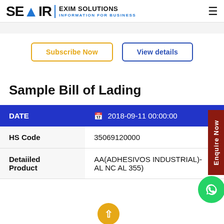SEAIR EXIM SOLUTIONS — INFORMATION FOR BUSINESS
Subscribe Now | View details
Sample Bill of Lading
| DATE | 2018-09-11 00:00:00 |
| --- | --- |
| HS Code | 35069120000 |
| Detaiiled Product | AA(ADHESIVOS INDUSTRIAL)- AL NC AL 355) |